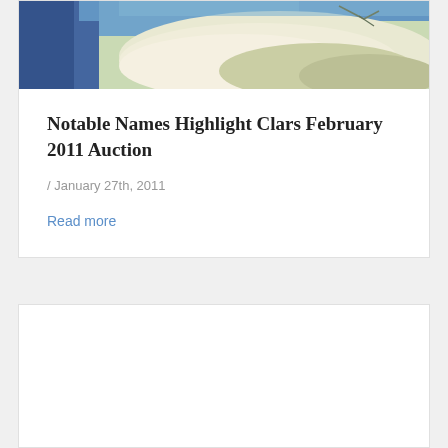[Figure (illustration): Partial view of a painting showing blue and green-white hues, appears to be an impressionist-style artwork cropped at the top of the card]
Notable Names Highlight Clars February 2011 Auction
/ January 27th, 2011
Read more
[Figure (other): Second card/article block, largely white/empty, partially visible at the bottom of the page]